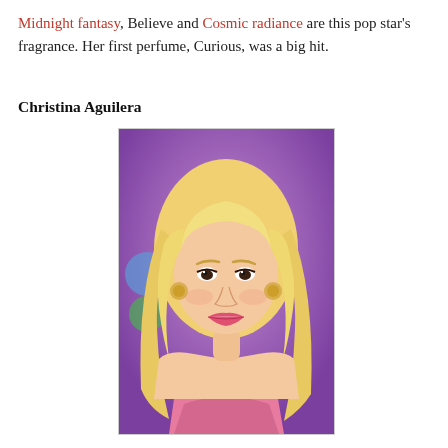Midnight fantasy, Believe and Cosmic radiance are this pop star's fragrance. Her first perfume, Curious, was a big hit.
Christina Aguilera
[Figure (photo): Photo of Christina Aguilera, a blonde woman wearing a pink top, smiling in front of a purple background with an NBC logo visible.]